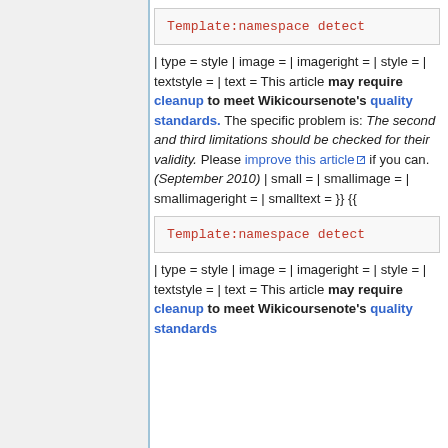[Figure (screenshot): Template:namespace detect code box (first instance)]
| type = style | image = | imageright = | style = | textstyle = | text = This article may require cleanup to meet Wikicoursenote's quality standards. The specific problem is: The second and third limitations should be checked for their validity. Please improve this article if you can. (September 2010) | small = | smallimage = | smallimageright = | smalltext = }} {{
[Figure (screenshot): Template:namespace detect code box (second instance)]
| type = style | image = | imageright = | style = | textstyle = | text = This article may require cleanup to meet Wikicoursenote's quality standards.